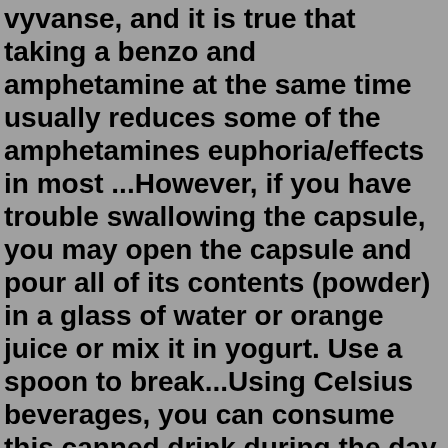vyvanse, and it is true that taking a benzo and amphetamine at the same time usually reduces some of the amphetamines euphoria/effects in most ...However, if you have trouble swallowing the capsule, you may open the capsule and pour all of its contents (powder) in a glass of water or orange juice or mix it in yogurt. Use a spoon to break...Using Celsius beverages, you can consume this canned drink during the day for a pick-me-up or weight loss boost or consumed 15 minutes before workouts to help with endurance levels. Just note that you should not drink this product within 5 hours before bedtime, because it contains stimulants that can affect your sleep.If a stimulant has not caused adverse effects during the morning and early afternoon, but the person gets very restless or very irritable or too serious as the medicine is wearing off in mid-afternoon or early evening, it is likely that the medicine is dropping off too fast and the person is "crashing."The strength of Vyvanse wears off over time Initial dose: 1 mg/DAY Apple iPhone 12 Pro Max With Facetime 128GB Pacific